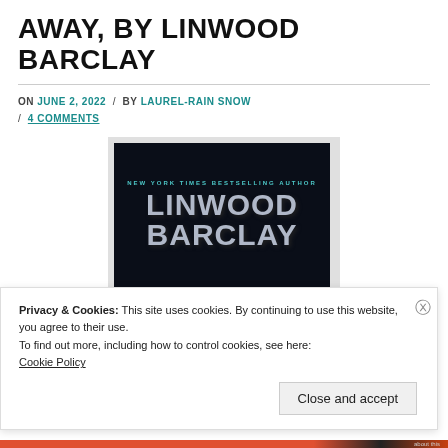AWAY, BY LINWOOD BARCLAY
ON JUNE 2, 2022 / BY LAUREL-RAIN SNOW / 4 COMMENTS
[Figure (photo): Book cover of Linwood Barclay novel: dark background with silver metallic text. Top line reads 'NEW YORK TIMES BESTSELLING AUTHOR' in teal. Large silver text 'LINWOOD BARCLAY' below.]
Privacy & Cookies: This site uses cookies. By continuing to use this website, you agree to their use.
To find out more, including how to control cookies, see here:
Cookie Policy

Close and accept